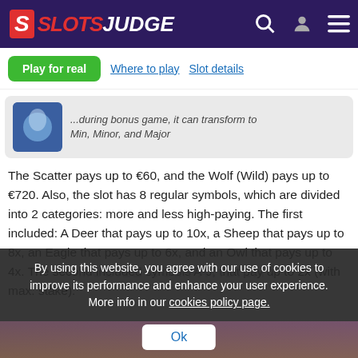SLOTS JUDGE
Play for real  Where to play  Slot details
...during bonus game, it can transform to Min, Minor, and Major
The Scatter pays up to €60, and the Wolf (Wild) pays up to €720. Also, the slot has 8 regular symbols, which are divided into 2 categories: more and less high-paying. The first included: A Deer that pays up to 10x, a Sheep that pays up to 8x, an Eagle that pays up to 6x, and an Owl that pays up to 4x. The second included symbols A-J, that pay up to 2x (with max. stake).
MOBILE COMPATIBILITY
By using this website, you agree with our use of cookies to improve its performance and enhance your user experience. More info in our cookies policy page.
Ok